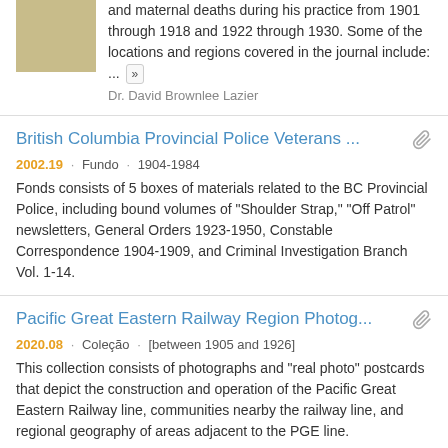and maternal deaths during his practice from 1901 through 1918 and 1922 through 1930. Some of the locations and regions covered in the journal include: ...
Dr. David Brownlee Lazier
British Columbia Provincial Police Veterans ...
2002.19 · Fundo · 1904-1984
Fonds consists of 5 boxes of materials related to the BC Provincial Police, including bound volumes of "Shoulder Strap," "Off Patrol" newsletters, General Orders 1923-1950, Constable Correspondence 1904-1909, and Criminal Investigation Branch Vol. 1-14.
Pacific Great Eastern Railway Region Photog...
2020.08 · Coleção · [between 1905 and 1926]
This collection consists of photographs and "real photo" postcards that depict the construction and operation of the Pacific Great Eastern Railway line, communities nearby the railway line, and regional geography of areas adjacent to the PGE line.